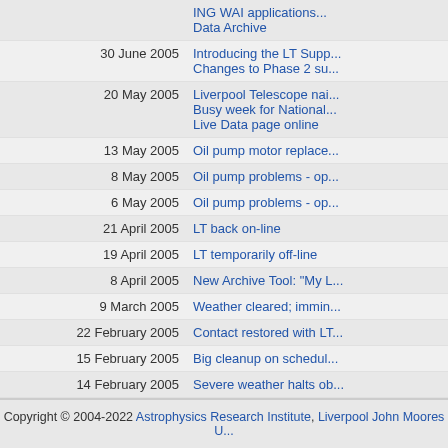| Date | Title |
| --- | --- |
|  | ING WAI applications... Data Archive |
| 30 June 2005 | Introducing the LT Supp... Changes to Phase 2 su... |
| 20 May 2005 | Liverpool Telescope nai... Busy week for National... Live Data page online |
| 13 May 2005 | Oil pump motor replace... |
| 8 May 2005 | Oil pump problems - op... |
| 6 May 2005 | Oil pump problems - op... |
| 21 April 2005 | LT back on-line |
| 19 April 2005 | LT temporarily off-line |
| 8 April 2005 | New Archive Tool: "My L... |
| 9 March 2005 | Weather cleared; immin... |
| 22 February 2005 | Contact restored with LT... |
| 15 February 2005 | Big cleanup on schedul... |
| 14 February 2005 | Severe weather halts ob... |
| 13 February 2005 | Additions to website |
| 8 October 2004 | LT catches its first Gam... |
| 9 September 2004 | LT featured on BBC's "S... |
| 5 August 2004 | Enclosure upgrade com... |
| 15 June 2004 | LT closed for enclosure... |
| 27 April 2004 | LT goes robotic |
| 19 March 2004 | LT images NEO 2004FH... |
Copyright © 2004-2022 Astrophysics Research Institute, Liverpool John Moores U...